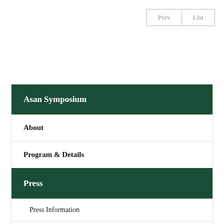Prev   List
Asan Symposium
About
Program & Details
Press
Press Information
Press Release